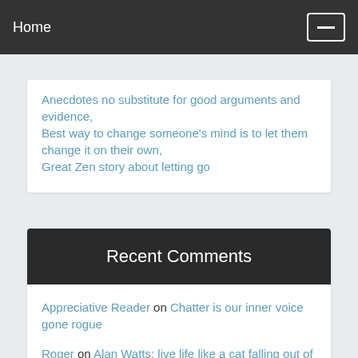Home
Anecdotes no substitute for good arguments and evidence,
Best way to change someone's mind is to let them change it on their own,
Great Zen story about letting go
Recent Comments
Appreciative Reader on Chatter is our inner voice gone rogue
Roger on Alan Watts: live life like a cat falling out of a tree